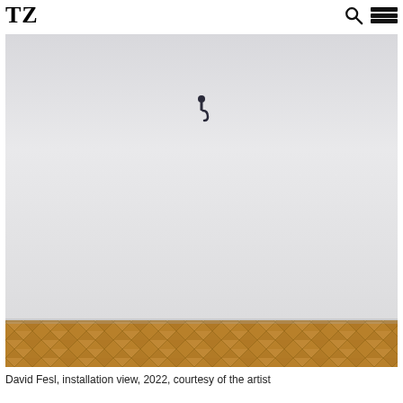TZ
[Figure (photo): Gallery installation view showing a large white wall with a single small dark hook or nail near the upper center, with a herringbone wood parquet floor visible at the bottom.]
David Fesl, installation view, 2022, courtesy of the artist